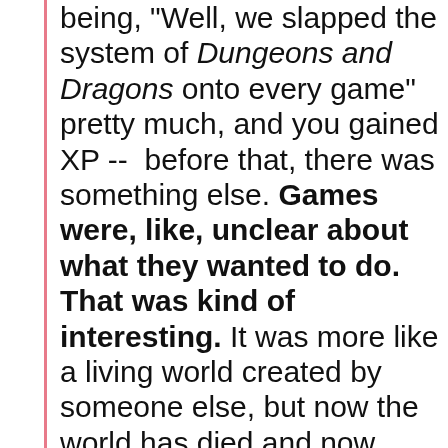being, "Well, we slapped the system of Dungeons and Dragons onto every game" pretty much, and you gained XP --  before that, there was something else. Games were, like, unclear about what they wanted to do. That was kind of interesting. It was more like a living world created by someone else, but now the world has died and now you're stuck in it and you could explore a bit, because nobody said, "In an action game, you must have this, but you can't have that." That was interesting. You can't have it this way, these days.